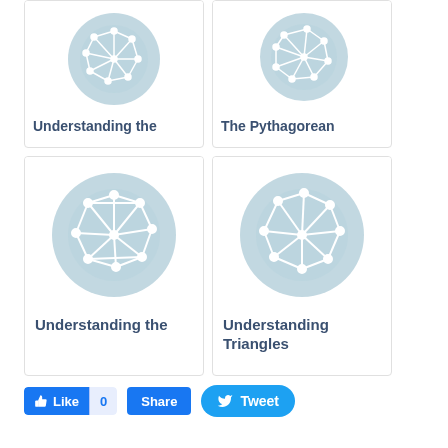[Figure (illustration): Card with circular light-blue network/polygon icon labeled 'Understanding the']
[Figure (illustration): Card with circular light-blue network/polygon icon labeled 'The Pythagorean']
[Figure (illustration): Card with circular light-blue network/polygon icon labeled 'Understanding the']
[Figure (illustration): Card with circular light-blue network/polygon icon labeled 'Understanding Triangles']
[Figure (other): Social share buttons: Facebook Like 0, Share, and Tweet]